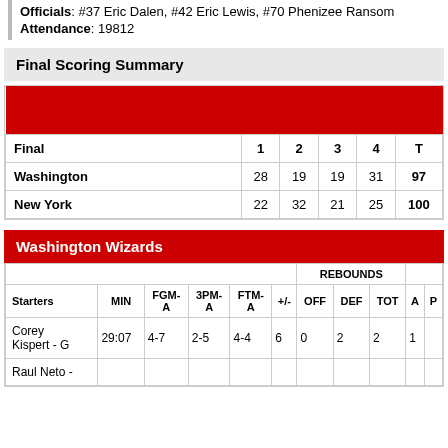Officials: #37 Eric Dalen, #42 Eric Lewis, #70 Phenizee Ransom
Attendance: 19812
Final Scoring Summary
| Final | 1 | 2 | 3 | 4 | T |
| --- | --- | --- | --- | --- | --- |
| Washington | 28 | 19 | 19 | 31 | 97 |
| New York | 22 | 32 | 21 | 25 | 100 |
Washington Wizards
| Starters | MIN | FGM-A | 3PM-A | FTM-A | +/- | OFF | DEF | TOT | A | P |
| --- | --- | --- | --- | --- | --- | --- | --- | --- | --- | --- |
| Corey Kispert - G | 29:07 | 4-7 | 2-5 | 4-4 | 6 | 0 | 2 | 2 | 1 |  |
| Raul Neto - |  |  |  |  |  |  |  |  |  |  |